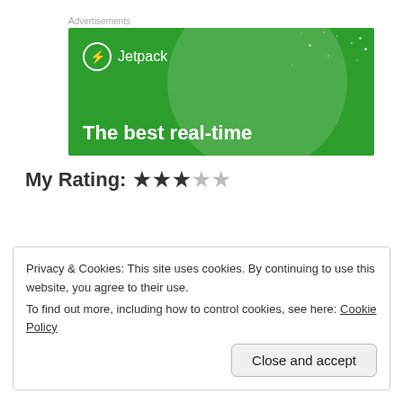Advertisements
[Figure (screenshot): Jetpack advertisement banner with green background, circular decorative element, dot pattern, Jetpack logo with lightning bolt icon, and text 'The best real-time']
My Rating: ★★★☆☆
Privacy & Cookies: This site uses cookies. By continuing to use this website, you agree to their use.
To find out more, including how to control cookies, see here: Cookie Policy
Close and accept